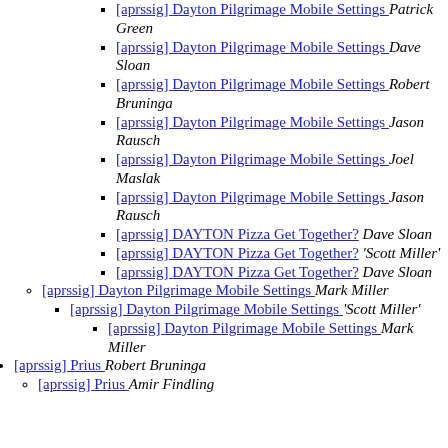[aprssig] Dayton Pilgrimage Mobile Settings  Patrick Green
[aprssig] Dayton Pilgrimage Mobile Settings  Dave Sloan
[aprssig] Dayton Pilgrimage Mobile Settings  Robert Bruninga
[aprssig] Dayton Pilgrimage Mobile Settings  Jason Rausch
[aprssig] Dayton Pilgrimage Mobile Settings  Joel Maslak
[aprssig] Dayton Pilgrimage Mobile Settings  Jason Rausch
[aprssig] DAYTON Pizza Get Together?  Dave Sloan
[aprssig] DAYTON Pizza Get Together?  'Scott Miller'
[aprssig] DAYTON Pizza Get Together?  Dave Sloan
[aprssig] Dayton Pilgrimage Mobile Settings  Mark Miller
[aprssig] Dayton Pilgrimage Mobile Settings  'Scott Miller'
[aprssig] Dayton Pilgrimage Mobile Settings  Mark Miller
[aprssig] Prius  Robert Bruninga
[aprssig] Prius  Amir Findling